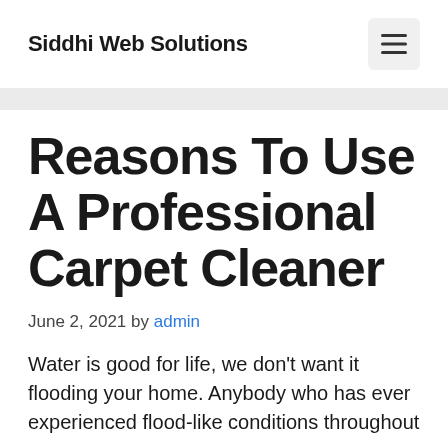Siddhi Web Solutions
Reasons To Use A Professional Carpet Cleaner
June 2, 2021 by admin
Water is good for life, we don't want it flooding your home. Anybody who has ever experienced flood-like conditions throughout